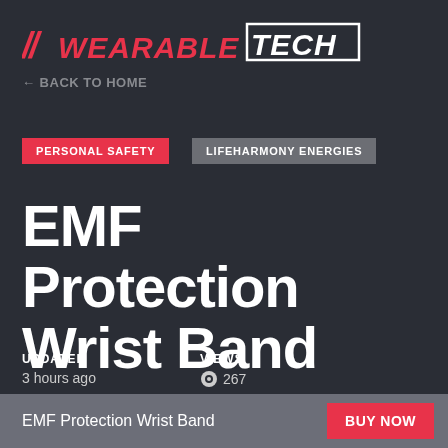[Figure (logo): //WEARABLETECH logo with red slashes and brand name, TECH in white outlined box]
← BACK TO HOME
PERSONAL SAFETY
LIFEHARMONY ENERGIES
EMF Protection Wrist Band
UPDATED
3 hours ago
VIEWS
267
EMF Protection Wrist Band
BUY NOW